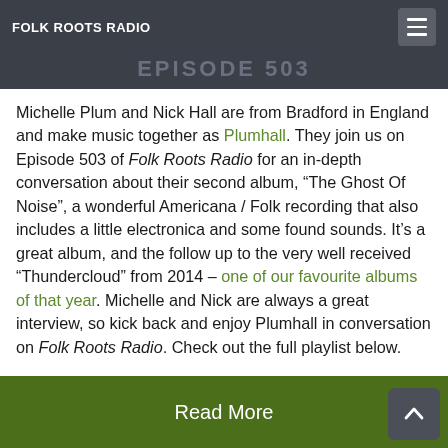FOLK ROOTS RADIO
EPISODE 503
Michelle Plum and Nick Hall are from Bradford in England and make music together as Plumhall. They join us on Episode 503 of Folk Roots Radio for an in-depth conversation about their second album, “The Ghost Of Noise”, a wonderful Americana / Folk recording that also includes a little electronica and some found sounds. It’s a great album, and the follow up to the very well received “Thundercloud” from 2014 – one of our favourite albums of that year. Michelle and Nick are always a great interview, so kick back and enjoy Plumhall in conversation on Folk Roots Radio. Check out the full playlist below.
Read More